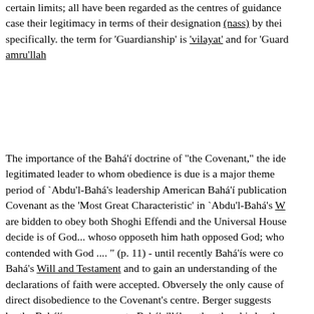certain limits; all have been regarded as the centres of guidance case their legitimacy in terms of their designation (nass) by thei specifically. the term for 'Guardianship' is 'vilayat' and for 'Guar amru'llah
The importance of the Bahá'í doctrine of "the Covenant," the id legitimated leader to whom obedience is due is a major theme period of `Abdu'l-Bahá's leadership American Bahá'í publication Covenant as the 'Most Great Characteristic' in `Abdu'l-Bahá's W are bidden to obey both Shoghi Effendi and the Universal Hous decide is of God... whoso opposeth him hath opposed God; wh contended with God .... " (p. 11) - until recently Bahá'ís were co Bahá's Will and Testament and to gain an understanding of the declarations of faith were accepted. Obversely the only cause o direct disobedience to the Covenant's centre. Berger suggests by the Bahá'ís as successor to Bahá'u'lláh, rather than his brot charismatic leader who represented the messianic motif more s undoubtedly a factor, it must also be remembered that `Abdu'l-B the Covenant.' The must greater emphasis on 'the Covenant' d